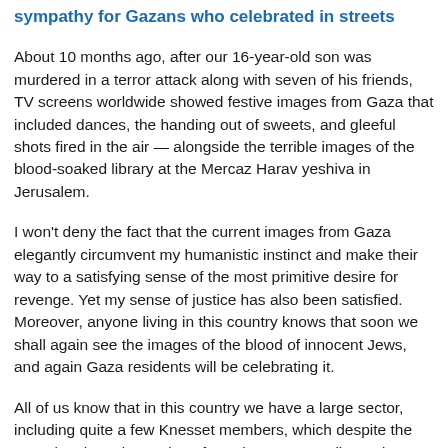sympathy for Gazans who celebrated in streets
About 10 months ago, after our 16-year-old son was murdered in a terror attack along with seven of his friends, TV screens worldwide showed festive images from Gaza that included dances, the handing out of sweets, and gleeful shots fired in the air — alongside the terrible images of the blood-soaked library at the Mercaz Harav yeshiva in Jerusalem.
I won't deny the fact that the current images from Gaza elegantly circumvent my humanistic instinct and make their way to a satisfying sense of the most primitive desire for revenge. Yet my sense of justice has also been satisfied. Moreover, anyone living in this country knows that soon we shall again see the images of the blood of innocent Jews, and again Gaza residents will be celebrating it.
All of us know that in this country we have a large sector, including quite a few Knesset members, which despite the occasional condemnation of murderous terror directed at citizens secretly hopes for a multi-casualty terror attack — so it proves there is no way to defeat Hamas, and we must...